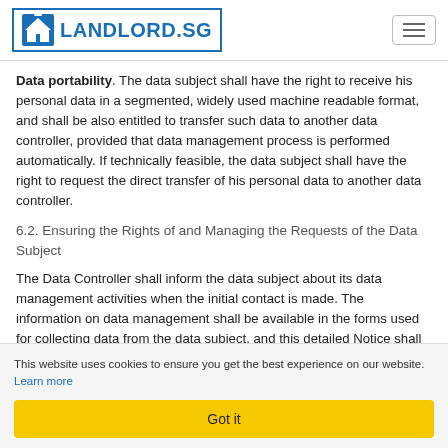LANDLORD.SG
Data portability. The data subject shall have the right to receive his personal data in a segmented, widely used machine readable format, and shall be also entitled to transfer such data to another data controller, provided that data management process is performed automatically. If technically feasible, the data subject shall have the right to request the direct transfer of his personal data to another data controller.
6.2. Ensuring the Rights of and Managing the Requests of the Data Subject
The Data Controller shall inform the data subject about its data management activities when the initial contact is made. The information on data management shall be available in the forms used for collecting data from the data subject, and this detailed Notice shall be made available to the data subject, and The
This website uses cookies to ensure you get the best experience on our website. Learn more
Got it